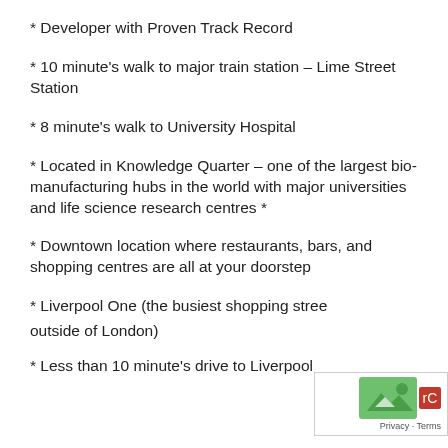* Developer with Proven Track Record
* 10 minute's walk to major train station – Lime Street Station
* 8 minute's walk to University Hospital
* Located in Knowledge Quarter – one of the largest bio-manufacturing hubs in the world with major universities and life science research centres *
* Downtown location where restaurants, bars, and shopping centres are all at your doorstep
* Liverpool One (the busiest shopping street outside of London)
* Less than 10 minute's drive to Liverpool…